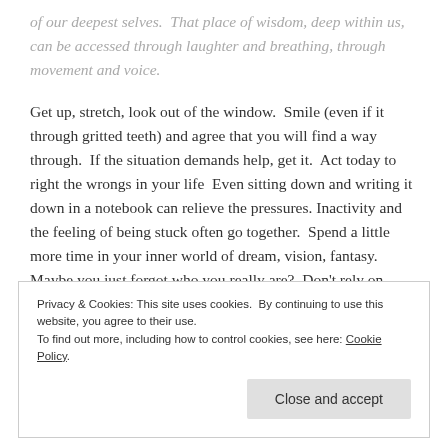of our deepest selves.  That place of wisdom, deep within us, can be accessed through laughter and breathing, through movement and voice.
Get up, stretch, look out of the window.  Smile (even if it through gritted teeth) and agree that you will find a way through.  If the situation demands help, get it.  Act today to right the wrongs in your life  Even sitting down and writing it down in a notebook can relieve the pressures. Inactivity and the feeling of being stuck often go together.  Spend a little more time in your inner world of dream, vision, fantasy.  Maybe you just forgot who you really are?  Don't rely on others to validate your 'good' – validate it for yourself
Privacy & Cookies: This site uses cookies. By continuing to use this website, you agree to their use. To find out more, including how to control cookies, see here: Cookie Policy